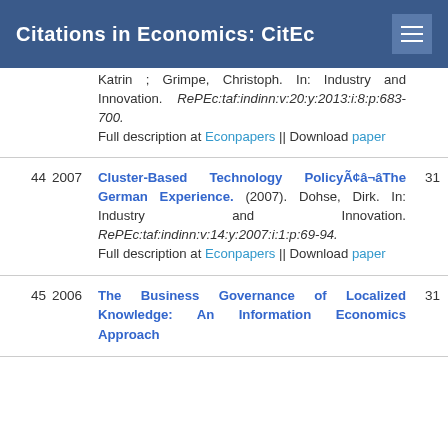Citations in Economics: CitEc
Katrin ; Grimpe, Christoph. In: Industry and Innovation. RePEc:taf:indinn:v:20:y:2013:i:8:p:683-700. Full description at Econpapers || Download paper
44 2007 Cluster-Based Technology PolicyÃ¢â¬âThe German Experience. (2007). Dohse, Dirk. In: Industry and Innovation. RePEc:taf:indinn:v:14:y:2007:i:1:p:69-94. Full description at Econpapers || Download paper 31
45 2006 The Business Governance of Localized Knowledge: An Information Economics Approach 31